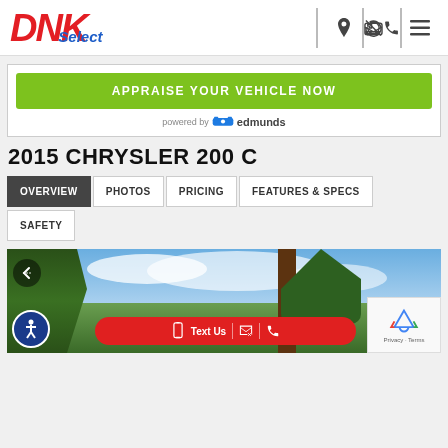[Figure (logo): DNK Select dealership logo — red bold italic 'DNK' with blue italic 'Select' below]
APPRAISE YOUR VEHICLE NOW
powered by edmunds
2015 CHRYSLER 200 C
OVERVIEW
PHOTOS
PRICING
FEATURES & SPECS
SAFETY
[Figure (photo): Outdoor car lot photo with trees, blue sky with clouds, and vehicle visible at bottom right. Overlaid UI elements include a back arrow, accessibility icon, red Text Us bar, and reCAPTCHA widget.]